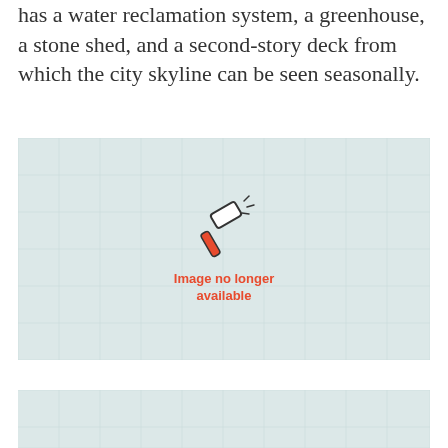has a water reclamation system, a greenhouse, a stone shed, and a second-story deck from which the city skyline can be seen seasonally.
[Figure (photo): Image placeholder with hammer icon and text 'Image no longer available' on a light teal grid background.]
[Figure (photo): Second image placeholder, partially visible at the bottom of the page, light teal grid background.]